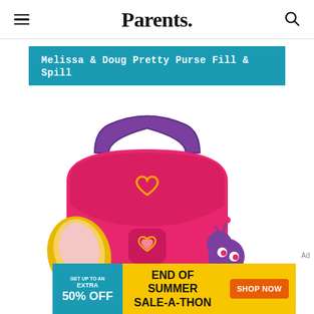Parents.
Melissa & Doug Pretty Purse Fill & Spill
[Figure (photo): Product photo of Melissa & Doug Pretty Purse Fill & Spill toy set showing a pink and purple plush purse with heart design, accompanied by smaller accessories in pink and yellow]
[Figure (infographic): Advertisement banner: GET UP TO AN EXTRA 50% OFF | END OF SUMMER SALE-A-THON | SHOP NOW button]
Ad